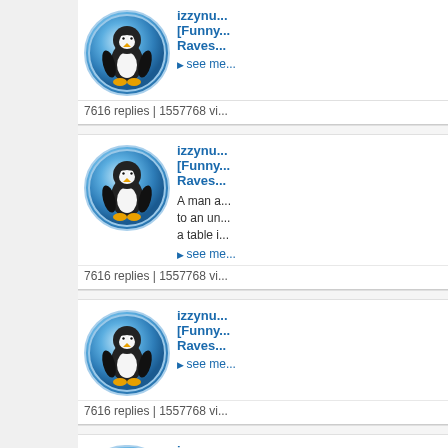[Figure (screenshot): Forum/discussion board page showing repeated post entries with a Linux Tux penguin avatar, username 'izzynu...', post title '[Funny... Raves...]', reply counts, and partial post text.]
izzynu... [Funny... Raves... ▶ see me... 7616 replies | 1557768 vi...
izzynu... [Funny... Raves... A man a... to an un... a table i... ▶ see me... 7616 replies | 1557768 vi...
izzynu... [Funny... Raves... ▶ see me... 7616 replies | 1557768 vi...
izzynu...